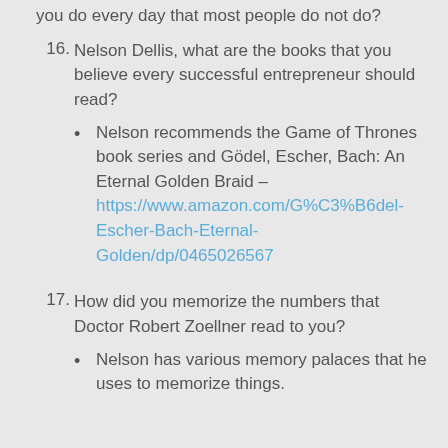you do every day that most people do not do?
16. Nelson Dellis, what are the books that you believe every successful entrepreneur should read?
Nelson recommends the Game of Thrones book series and Gödel, Escher, Bach: An Eternal Golden Braid – https://www.amazon.com/G%C3%B6del-Escher-Bach-Eternal-Golden/dp/0465026567
17. How did you memorize the numbers that Doctor Robert Zoellner read to you?
Nelson has various memory palaces that he uses to memorize things.